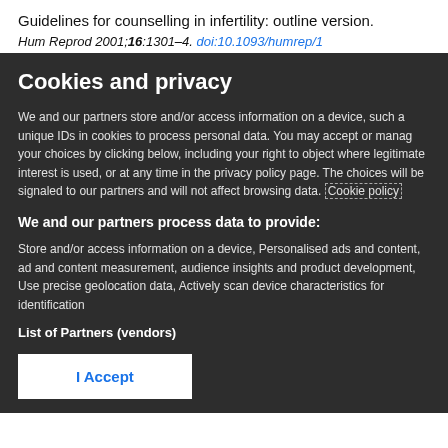Guidelines for counselling in infertility: outline version.
Hum Reprod 2001;16:1301–4. doi:10.1093/humrep/1
Cookies and privacy
We and our partners store and/or access information on a device, such as unique IDs in cookies to process personal data. You may accept or manage your choices by clicking below, including your right to object where legitimate interest is used, or at any time in the privacy policy page. These choices will be signaled to our partners and will not affect browsing data. Cookie policy
We and our partners process data to provide:
Store and/or access information on a device, Personalised ads and content, ad and content measurement, audience insights and product development, Use precise geolocation data, Actively scan device characteristics for identification
List of Partners (vendors)
I Accept